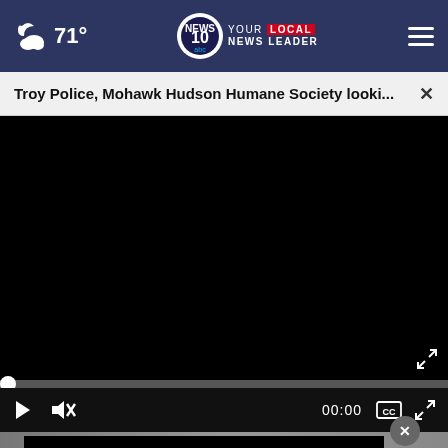71° NEWS 10 YOUR LOCAL NEWS LEADER
Troy Police, Mohawk Hudson Humane Society looki...
[Figure (screenshot): Black video player area with playback controls: play button, mute button, timecode 00:00, closed captions button, and fullscreen button. Progress bar at top of controls.]
[Figure (screenshot): Advertisement banner with text '#Dadication' in cyan on black background, with HHS, ACF, National Responsible Fatherhood Clearinghouse, and Ad Council logos. A close button (×) is shown above the ad.]